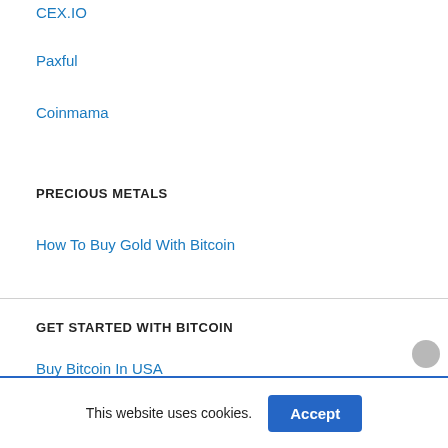CEX.IO
Paxful
Coinmama
PRECIOUS METALS
How To Buy Gold With Bitcoin
GET STARTED WITH BITCOIN
Buy Bitcoin In USA
Buy Bitcoin In UK
This website uses cookies.
Accept